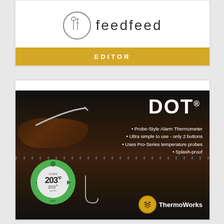[Figure (logo): feedfeed logo with utensil icons in a circle, text 'feedfeed' in light letters, and a gold bar below reading 'EDITOR']
[Figure (illustration): DOT probe-style alarm thermometer advertisement showing a green circular DOT device displaying 203°F on a dark background with meat on grill, bullet points listing features: Probe-Style Alarm Thermometer, Ultra simple to use - only 2 buttons, Uses Pro-Series temperature probes, Splash-proof. ThermoWorks logo at bottom right.]